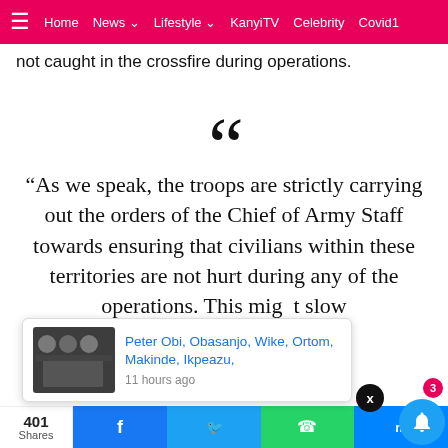≡  Home  News ▾  Lifestyle ▾  KanyiTV  Celebrity  Covid1
not caught in the crossfire during operations.
“As we speak, the troops are strictly carrying out the orders of the Chief of Army Staff towards ensuring that civilians within these territories are not hurt during any of the operations. This might slow … he Boko … using
[Figure (screenshot): Popup card with thumbnail photo of group of men, linked headline 'Peter Obi, Obasanjo, Wike, Ortom, Makinde, Ikpeazu,' and timestamp '11 hours ago']
401 Shares
[Figure (infographic): Social share bar: Facebook, Twitter, WhatsApp, Messenger buttons at bottom of page]